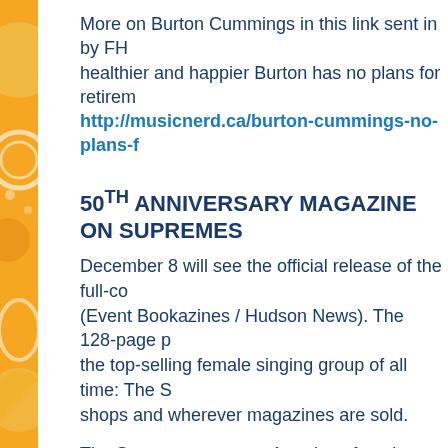More on Burton Cummings in this link sent in by FH healthier and happier Burton has no plans for retirem http://musicnerd.ca/burton-cummings-no-plans-f
50TH ANNIVERSARY MAGAZINE ON SUPREMES
December 8 will see the official release of the full-co (Event Bookazines / Hudson News). The 128-page p the top-selling female singing group of all time: The S shops and wherever magazines are sold.
The Supremes were an American female singing gro 1960s. Originally founded as The Primettes in Detro tunes, psychedelic soul, and disco. They were the m successful vocal group with 12 Number One singles songwriting and production team, Holland–Dozier–H